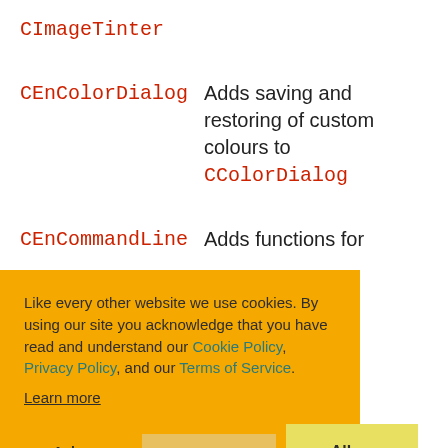CImageTinter
CEnColorDialog — Adds saving and restoring of custom colours to CColorDialog
CEnCommandLine — Adds functions for ...
Like every other website we use cookies. By using our site you acknowledge that you have read and understand our Cookie Policy, Privacy Policy, and our Terms of Service. Learn more
Ask me later | Decline | Allow cookies
CMaskEdit, CThemed, CDlgUnits